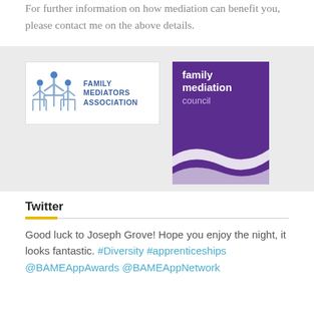For further information on how mediation can benefit you, please contact me on the above details.
[Figure (logo): Family Mediators Association logo — figures icon with text FAMILY MEDIATORS ASSOCIATION]
[Figure (logo): Family Mediation Council logo — purple background with text 'family mediation council' and wave graphic]
Twitter
Good luck to Joseph Grove! Hope you enjoy the night, it looks fantastic. #Diversity #apprenticeships @BAMEAppAwards @BAMEAppNetwork